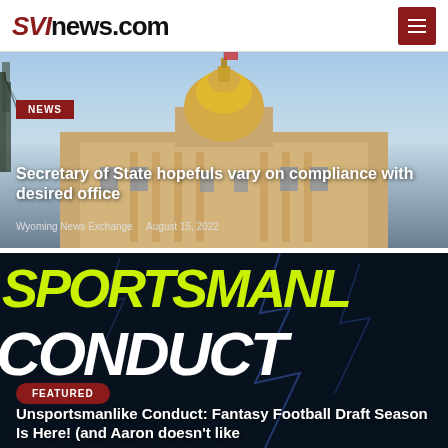SVInews.com
[Figure (photo): Wyoming State Capitol building with golden dome against blue sky, trees visible on left side]
NEWS
Secretary of State hopefuls vary on compliance with desired office
Wyoming News Exchange   August 15, 2022
[Figure (photo): Dark background with lightning, large yellow-green text 'SPORTSMANLIKE' and white text 'CONDUCT' overlaid]
FEATURED
Unsportsmanlike Conduct: Fantasy Football Draft Season Is Here! (and Aaron doesn't like